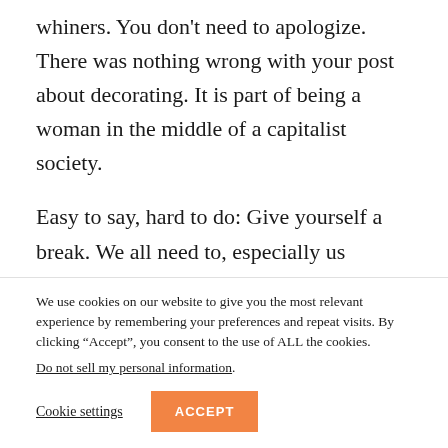whiners. You don't need to apologize. There was nothing wrong with your post about decorating. It is part of being a woman in the middle of a capitalist society.
Easy to say, hard to do: Give yourself a break. We all need to, especially us mothers. We are all way to hard on ourselves. (((HUGS)))) I hope
We use cookies on our website to give you the most relevant experience by remembering your preferences and repeat visits. By clicking “Accept”, you consent to the use of ALL the cookies. Do not sell my personal information.
Cookie settings   ACCEPT